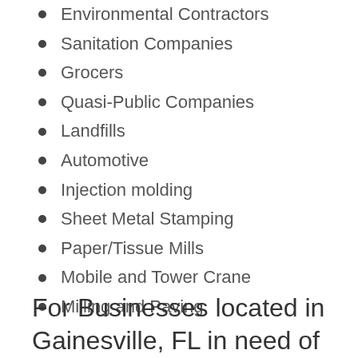Environmental Contractors
Sanitation Companies
Grocers
Quasi-Public Companies
Landfills
Automotive
Injection molding
Sheet Metal Stamping
Paper/Tissue Mills
Mobile and Tower Crane
Milling and Paving
For Businesses located in Gainesville, FL in need of